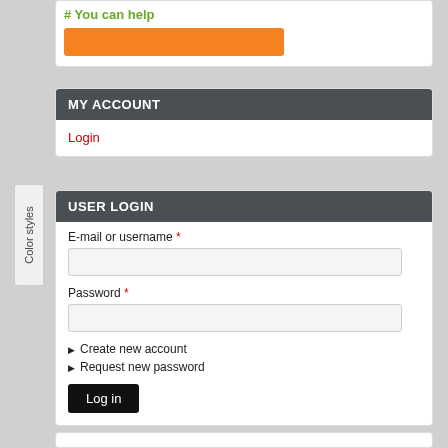[Figure (screenshot): Green link text (partially visible) above an orange button in a white card]
MY ACCOUNT
Login
USER LOGIN
E-mail or username *
Password *
Create new account
Request new password
Log in